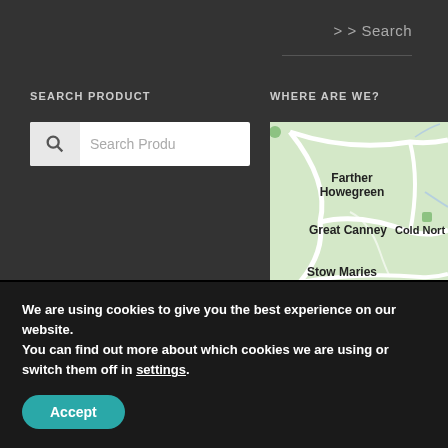> Search
SEARCH PRODUCT
[Figure (screenshot): Search product input box with magnifying glass icon and placeholder text 'Search Produ']
WHERE ARE WE?
[Figure (map): Google Maps view showing Farther Howegreen, Great Canney, Cold Norton, and Stow Maries locations]
We are using cookies to give you the best experience on our website.
You can find out more about which cookies we are using or switch them off in settings.
Accept